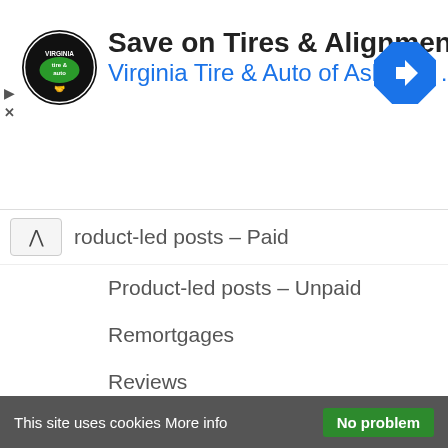[Figure (advertisement): Ad banner for Virginia Tire & Auto of Ashburn with logo, headline 'Save on Tires & Alignment', subline 'Virginia Tire & Auto of Ashburn ...', and a blue navigation arrow diamond icon.]
roduct-led posts – Paid
Product-led posts – Unpaid
Remortgages
Reviews
Sat Navs
Scripts
Short Stories
Silent Sunday
This site uses cookies More info  No problem